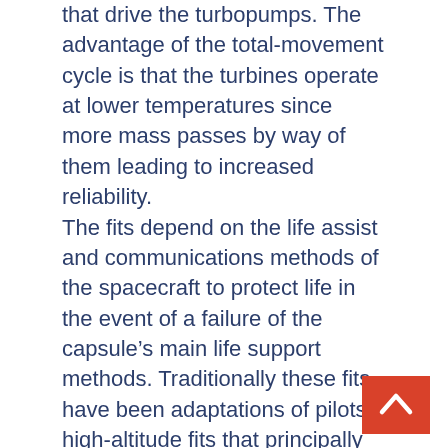that drive the turbopumps. The advantage of the total-movement cycle is that the turbines operate at lower temperatures since more mass passes by way of them leading to increased reliability. The fits depend on the life assist and communications methods of the spacecraft to protect life in the event of a failure of the capsule's main life support methods. Traditionally these fits have been adaptations of pilots' high-altitude fits that principally serve the identical objective. Thus, they've the affectionate moniker of "get me down" fits. In his own style, entrepreneur Elon Musk has re-choreographed the line between fantasy and actuality, taking what had once been fantasy and turning it into a brand new reality. The Dragon suits are an instance of this observe. In 2016, Elon Musk employed Hollywood costume designer Jose